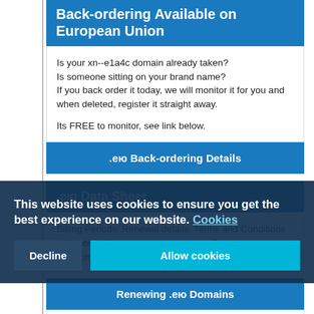Back-ordering Available on European Union
Is your xn--e1a4c domain already taken?
Is someone sitting on your brand name?
If you back order it today, we will monitor it for you and when deleted, register it straight away.

Its FREE to monitor, see link below.
.eю Back-ordering Details
.eю Data Sheet
Billing Periods, Renewal details, Terms and Conditions and more. All you need to keep your European Union .eю domain.
Renewing .eю Domains
1. Need to renew your .eю domain?
This website uses cookies to ensure you get the best experience on our website. Cookies